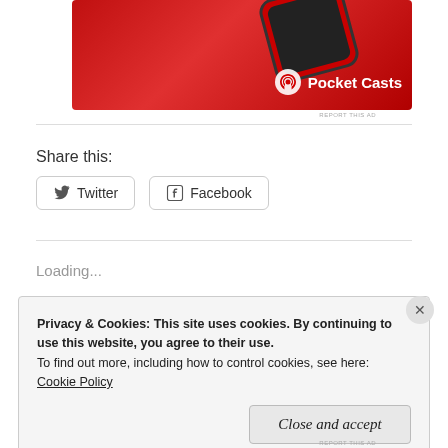[Figure (photo): Pocket Casts advertisement banner showing a red smartphone on a red background with the Pocket Casts logo and text.]
REPORT THIS AD
Share this:
Twitter
Facebook
Loading...
Privacy & Cookies: This site uses cookies. By continuing to use this website, you agree to their use.
To find out more, including how to control cookies, see here:
Cookie Policy
Close and accept